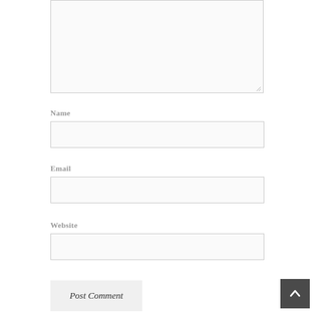[Figure (screenshot): Comment textarea input box (empty, light gray background)]
Name
[Figure (screenshot): Name text input field (empty, light gray background)]
Email
[Figure (screenshot): Email text input field (empty, light gray background)]
Website
[Figure (screenshot): Website text input field (empty, light gray background)]
[Figure (screenshot): Post Comment button (gray background)]
[Figure (screenshot): Scroll to top button (dark gray square with upward chevron)]